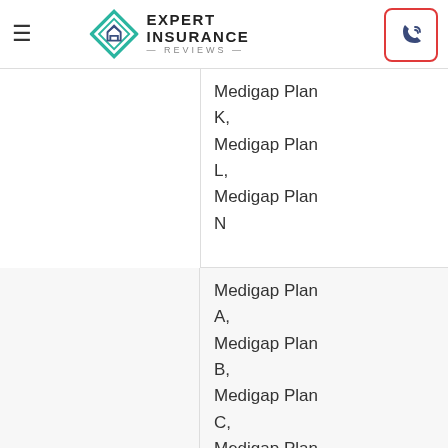Expert Insurance Reviews
| Company | Plans Available |
| --- | --- |
|  | Medigap Plan K,
Medigap Plan L,
Medigap Plan N |
| AARP – UnitedHealthcare Insurance Company (Level 2/Household) | Medigap Plan A,
Medigap Plan B,
Medigap Plan C,
Medigap Plan F,
Medigap Plan K,
Medigap Plan L |